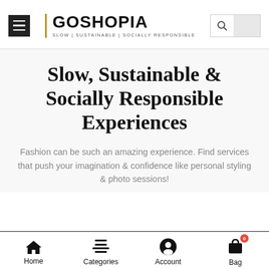GOSHOPIA — SLOW | SUSTAINABLE | SOCIALLY RESPONSIBLE
Slow, Sustainable & Socially Responsible Experiences
Fashion can be such an amazing experience. Find services that push your imagination & confidence like personal styling & photo sessions!
Home | Categories | Account | Bag (0)